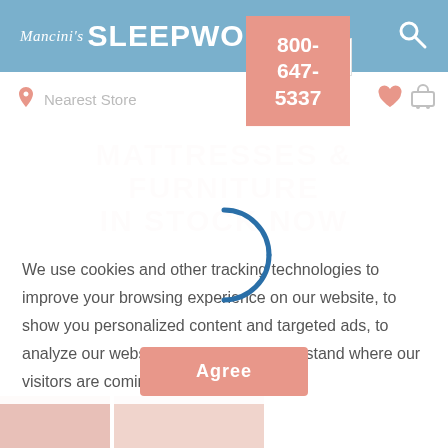Mancini's SLEEPWORLD
Nearest Store
800-647-5337
MATTRESSES & FURNITURE IN STOCK NOW
We use cookies and other tracking technologies to improve your browsing experience on our website, to show you personalized content and targeted ads, to analyze our website traffic, and to understand where our visitors are coming from.
Agree